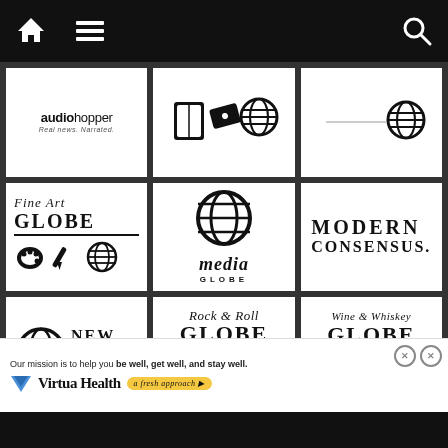[Figure (logo): Navigation bar with home icon, menu icon, and search icon]
[Figure (logo): audiohopper - Real news. Narrated. logo]
[Figure (logo): Book, ticket and globe icons (partial logo)]
[Figure (logo): Partial third logo top row - globe icon]
[Figure (logo): Fine Art Globe logo with palette, pen and globe icons]
[Figure (logo): media GLOBE logo with globe icon]
[Figure (logo): MODERN CONSENSUS. logo]
[Figure (logo): New Jersey Globe logo with globe and NJ state shape]
[Figure (logo): Rock and Roll GLOBE logo with drum and guitar icons]
[Figure (logo): Wine and Whiskey GLOBE logo with wine glass, whiskey glass and globe icons]
[Figure (logo): Virtua Health advertisement banner - Our mission is to help you be well, get well, and stay well.]